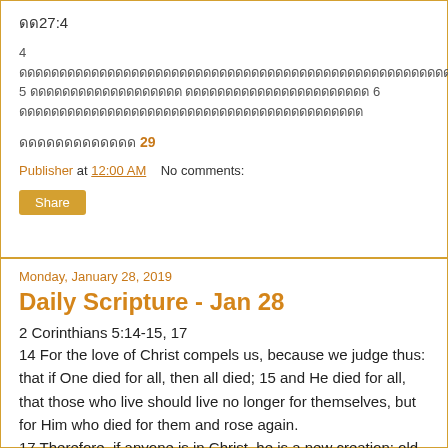ดด27:4
4 [Thai text] 5 [Thai text] 6 [Thai text]
ดดดดดดดดดดดดด 29
Publisher at 12:00 AM   No comments:
Share
Monday, January 28, 2019
Daily Scripture - Jan 28
2 Corinthians 5:14-15, 17
14 For the love of Christ compels us, because we judge thus: that if One died for all, then all died; 15 and He died for all, that those who live should live no longer for themselves, but for Him who died for them and rose again.
17 Therefore, if anyone is in Christ, he is a new creation; old things have passed away; behold, all things have become